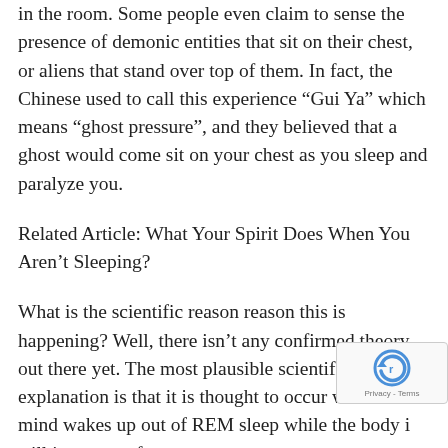in the room. Some people even claim to sense the presence of demonic entities that sit on their chest, or aliens that stand over top of them. In fact, the Chinese used to call this experience “Gui Ya” which means “ghost pressure”, and they believed that a ghost would come sit on your chest as you sleep and paralyze you.
Related Article: What Your Spirit Does When You Aren’t Sleeping?
What is the scientific reason reason this is happening? Well, there isn’t any confirmed theory out there yet. The most plausible scientific explanation is that it is thought to occur when the mind wakes up out of REM sleep while the body is still in a state of temporary paralysis...
[Figure (other): reCAPTCHA widget with logo and Privacy - Terms text]